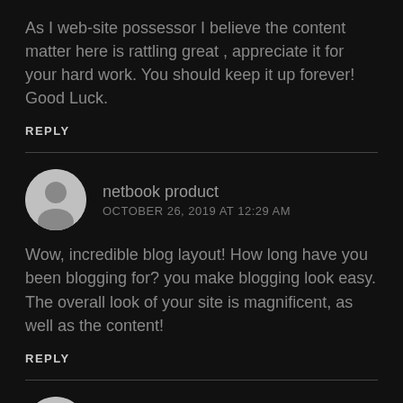As I web-site possessor I believe the content matter here is rattling great , appreciate it for your hard work. You should keep it up forever! Good Luck.
REPLY
netbook product
OCTOBER 26, 2019 AT 12:29 AM
Wow, incredible blog layout! How long have you been blogging for? you make blogging look easy. The overall look of your site is magnificent, as well as the content!
REPLY
dance art
OCTOBER 26, 2019 AT 6:52 PM